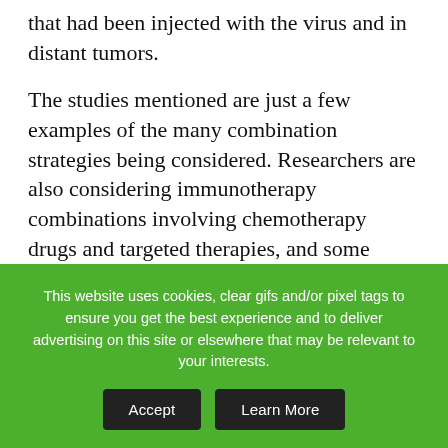that had been injected with the virus and in distant tumors.
The studies mentioned are just a few examples of the many combination strategies being considered. Researchers are also considering immunotherapy combinations involving chemotherapy drugs and targeted therapies, and some studies combine more than just two agents. There is even evidence that the microbes that inhabit human bodies, the microbiota, help determine whether patients respond to immunotherapy. Combination therapies of the future could include probiotics. (See “The Riddle of Bacteria...
This website uses cookies, clear gifs and/or pixel tags to ensure you get the best experience and to deliver advertising on this site or elsewhere that may be relevant to your interests.